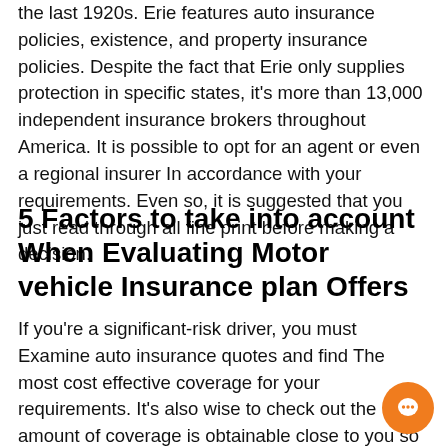the last 1920s. Erie features auto insurance policies, existence, and property insurance policies. Despite the fact that Erie only supplies protection in specific states, it's more than 13,000 independent insurance brokers throughout America. It is possible to opt for an agent or even a regional insurer In accordance with your requirements. Even so, it is suggested that you just read through all fine print before making a decision.
5 Factors to take into account When Evaluating Motor vehicle Insurance plan Offers
If you're a significant-risk driver, you must Examine auto insurance quotes and find The most cost effective coverage for your requirements. It's also wise to check out the amount of coverage is obtainable close to you so you can decide if a decrease amount is possible. It might be additional affordable to invest in far more protection When you have lower risk, or if you agree for an increased deductible. It all